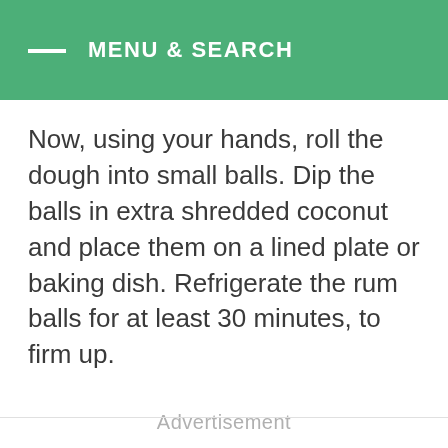MENU & SEARCH
Now, using your hands, roll the dough into small balls. Dip the balls in extra shredded coconut and place them on a lined plate or baking dish. Refrigerate the rum balls for at least 30 minutes, to firm up.
Advertisement